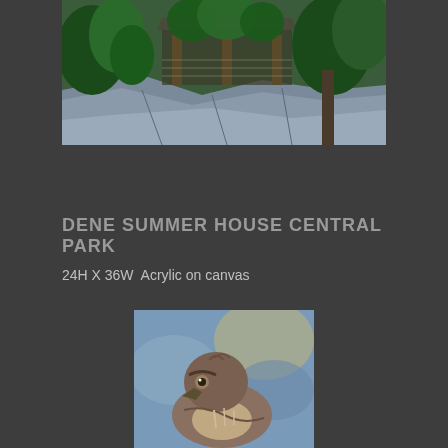[Figure (illustration): Painting of a summer house/gazebo structure covered in vines and surrounded by large trees and rocks in Central Park. Rendered in acrylic with green foliage and grey stone tones.]
DENE SUMMER HOUSE CENTRAL PARK
24H X 36W  Acrylic on canvas
[Figure (illustration): Painting of a hawk or eagle looking upward, with detailed brown and cream plumage against a blue and grey sky background.]